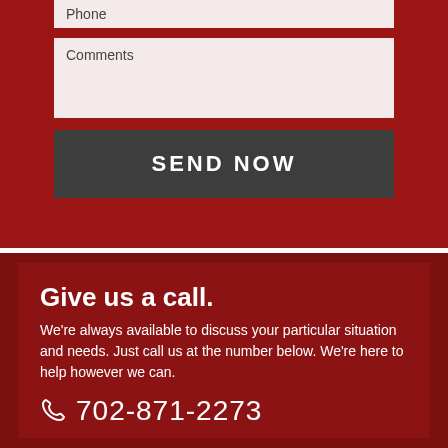[Figure (screenshot): Web contact form partial view showing Phone input field at top, Comments textarea, and a dark Send Now button on a dark red background]
Give us a call.
We're always available to discuss your particular situation and needs. Just call us at the number below. We're here to help however we can.
702-871-2273